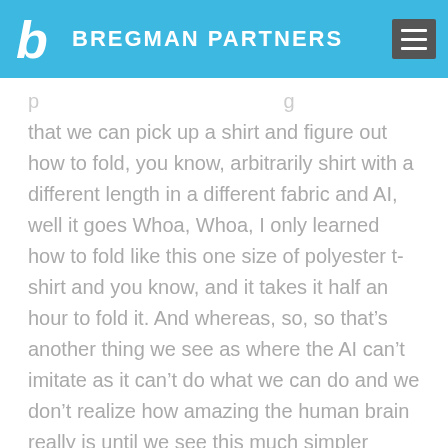BREGMAN PARTNERS
that we can pick up a shirt and figure out how to fold, you know, arbitrarily shirt with a different length in a different fabric and AI, well it goes Whoa, Whoa, I only learned how to fold like this one size of polyester t-shirt and you know, and it takes it half an hour to fold it. And whereas, so, so that’s another thing we see as where the AI can’t imitate as it can’t do what we can do and we don’t realize how amazing the human brain really is until we see this much simpler system falling on its face as it tries to do our everyday stuff.